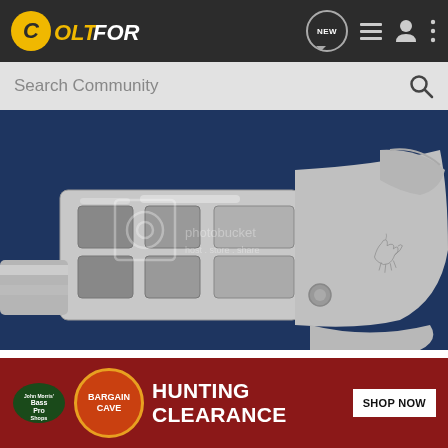ColtForum
Search Community
[Figure (photo): Close-up photograph of a polished nickel-plated Colt revolver cylinder and frame with rampant colt logo engraving, on blue background. Photobucket watermark overlay visible.]
[Figure (infographic): Bass Pro Shops advertisement banner: Bargain Cave Hunting Clearance. Shop Now button on dark red background.]